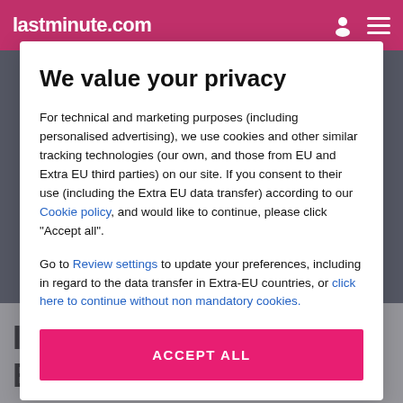lastminute.com
We value your privacy
For technical and marketing purposes (including personalised advertising), we use cookies and other similar tracking technologies (our own, and those from EU and Extra EU third parties) on our site. If you consent to their use (including the Extra EU data transfer) according to our Cookie policy, and would like to continue, please click "Accept all".
Go to Review settings to update your preferences, including in regard to the data transfer in Extra-EU countries, or click here to continue without non mandatory cookies.
ACCEPT ALL
Information about Home Baan Chiang Mai Hotel